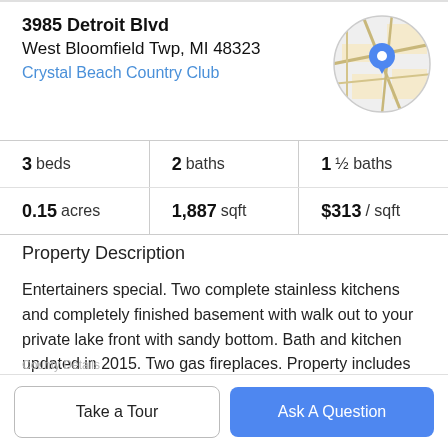3985 Detroit Blvd
West Bloomfield Twp, MI 48323
Crystal Beach Country Club
[Figure (map): Circular map thumbnail with a blue location pin marker, showing streets on a beige/gray map background.]
| 3 beds | 2 baths | 1 ½ baths |
| 0.15 acres | 1,887 sqft | $313 / sqft |
Property Description
Entertainers special. Two complete stainless kitchens and completely finished basement with walk out to your private lake front with sandy bottom. Bath and kitchen updated in 2015. Two gas fireplaces. Property includes Lots 9 & 10, 1818182006, your "party parking lot" across the street. A
Take a Tour
Ask A Question